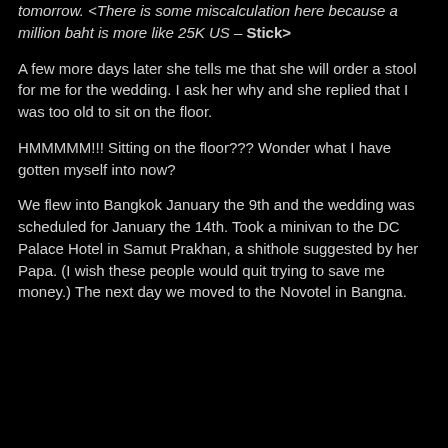tomorrow. <There is some miscalculation here because a million baht is more like 25K US – Stick>
A few more days later she tells me that she will order a stool for me for the wedding. I ask her why and she replied that I was too old to sit on the floor.
HMMMMM!!! Sitting on the floor??? Wonder what I have gotten myself into now?
We flew into Bangkok January the 9th and the wedding was scheduled for January the 14th. Took a minivan to the DC Palace Hotel in Samut Prakhan, a shithole suggested by her Papa. (I wish these people would quit trying to save me money.) The next day we moved to the Novotel in Bangna.